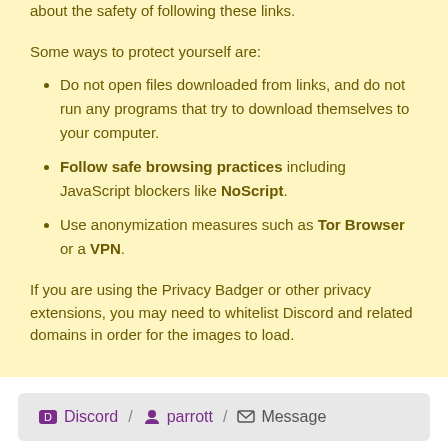about the safety of following these links.
Some ways to protect yourself are:
Do not open files downloaded from links, and do not run any programs that try to download themselves to your computer.
Follow safe browsing practices including JavaScript blockers like NoScript.
Use anonymization measures such as Tor Browser or a VPN.
If you are using the Privacy Badger or other privacy extensions, you may need to whitelist Discord and related domains in order for the images to load.
Discord / parrott / Message